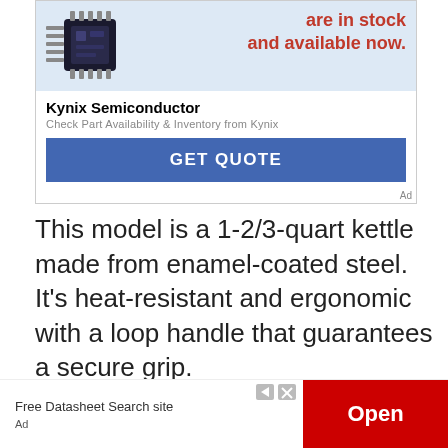[Figure (other): Advertisement banner for Kynix Semiconductor with chip image, red text 'are in stock and available now.', company name, description, and blue 'GET QUOTE' button]
This model is a 1-2/3-quart kettle made from enamel-coated steel. It’s heat-resistant and ergonomic with a loop handle that guarantees a secure grip.
It also has a removable, stay-cool phenolic lid. It heats up very quickly and evenly, and its stainless-steel handle ensures you don’t get burnt when removing it from the stove. You can
[Figure (other): Bottom advertisement banner: 'Free Datasheet Search site' on left, red 'Open' button on right, with Ad label and arrow/close icons]